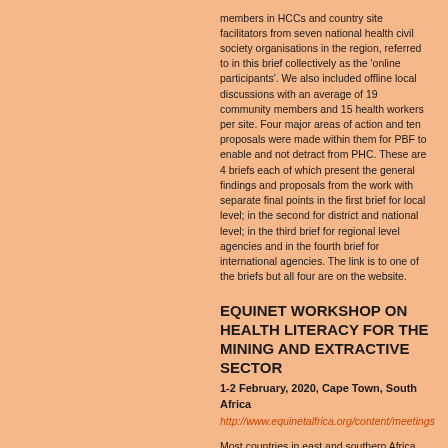members in HCCs and country site facilitators from seven national health civil society organisations in the region, referred to in this brief collectively as the 'online participants'. We also included offline local discussions with an average of 19 community members and 15 health workers per site. Four major areas of action and ten proposals were made within them for PBF to enable and not detract from PHC. These are 4 briefs each of which present the general findings and proposals from the work with separate final points in the first brief for local level; in the second for district and national level; in the third brief for regional level agencies and in the fourth brief for international agencies. The link is to one of the briefs but all four are on the website.
EQUINET WORKSHOP ON HEALTH LITERACY FOR THE MINING AND EXTRACTIVE SECTOR
1-2 February, 2020, Cape Town, South Africa
http://www.equinetalfrica.org/content/meetings
Most countries in east and southern Africa have rich deposits of a range of mineral reserves that are highly sought after in global trade. Extractive industries (EIs), largely multinationals from all regions of the world, extract these minerals, oil and gas from the earth through mining, dredging and quarrying. Countries in east and southern Africa thus face a challenge to make and implement policy choices that link these natural resources to improved social and economic development, and to ensure that extraction processes do not harm health or environments. EQUINET is working with trade union partners in the Southern Africa Coordination Council (SATUCC), Ex mineworkers in the Southern Africa Miners Association (SAMA) and civil society through Benchmarks SA on health in the